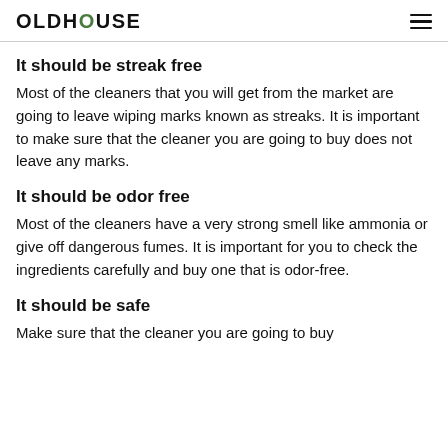OLDHOUSE
It should be streak free
Most of the cleaners that you will get from the market are going to leave wiping marks known as streaks. It is important to make sure that the cleaner you are going to buy does not leave any marks.
It should be odor free
Most of the cleaners have a very strong smell like ammonia or give off dangerous fumes. It is important for you to check the ingredients carefully and buy one that is odor-free.
It should be safe
Make sure that the cleaner you are going to buy